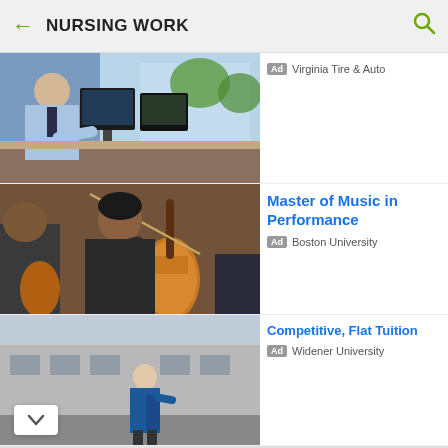NURSING WORK
[Figure (photo): Person in uniform working at computers/monitors in an office]
Ad  Virginia Tire & Auto
[Figure (photo): Musicians playing string instruments, cellos/violins]
Master of Music in Performance
Ad  Boston University
[Figure (photo): Person outdoors near a building]
Competitive, Flat Tuition
Ad  Widener University
A Self-Directed Journey
Work across, between, and without disciplines to curate your own course of study. Hampshire College
Learn More